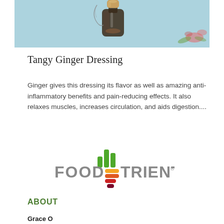[Figure (photo): Photograph of a glass bottle with a cork stopper on a light blue background with floral embroidery]
Tangy Ginger Dressing
Ginger gives this dressing its flavor as well as amazing anti-inflammatory benefits and pain-reducing effects. It also relaxes muscles, increases circulation, and aids digestion....
[Figure (logo): FoodTrients logo — colorful bar-chart icon above the word FOOD with stacked colored oval bars forming the letter E, followed by TRIENTS with registered trademark symbol]
ABOUT
Grace O